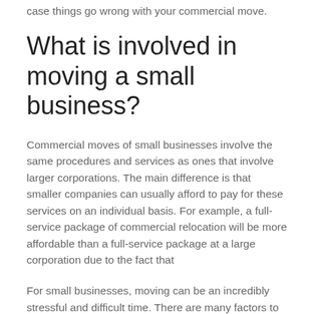case things go wrong with your commercial move.
What is involved in moving a small business?
Commercial moves of small businesses involve the same procedures and services as ones that involve larger corporations. The main difference is that smaller companies can usually afford to pay for these services on an individual basis. For example, a full-service package of commercial relocation will be more affordable than a full-service package at a large corporation due to the fact that
For small businesses, moving can be an incredibly stressful and difficult time. There are many factors to consider when planning such as timing, delivery needs and the workforce. A professional